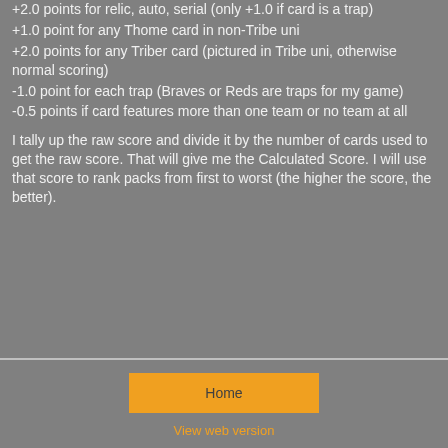+2.0 points for relic, auto, serial (only +1.0 if card is a trap)
+1.0 point for any Thome card in non-Tribe uni
+2.0 points for any Triber card (pictured in Tribe uni, otherwise normal scoring)
-1.0 point for each trap (Braves or Reds are traps for my game)
-0.5 points if card features more than one team or no team at all
I tally up the raw score and divide it by the number of cards used to get the raw score. That will give me the Calculated Score. I will use that score to rank packs from first to worst (the higher the score, the better).
Home | View web version